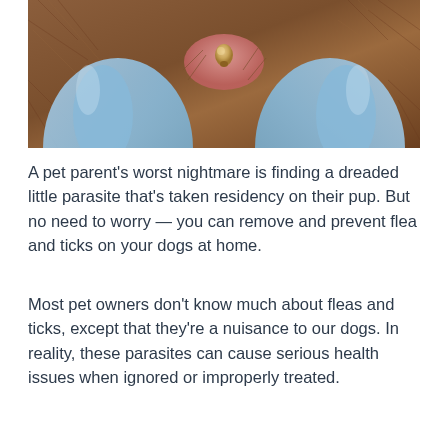[Figure (photo): Close-up photo of gloved hands (blue latex gloves) parting brown fur to reveal a tick embedded in an animal's skin.]
A pet parent's worst nightmare is finding a dreaded little parasite that's taken residency on their pup. But no need to worry — you can remove and prevent flea and ticks on your dogs at home.
Most pet owners don't know much about fleas and ticks, except that they're a nuisance to our dogs. In reality, these parasites can cause serious health issues when ignored or improperly treated.